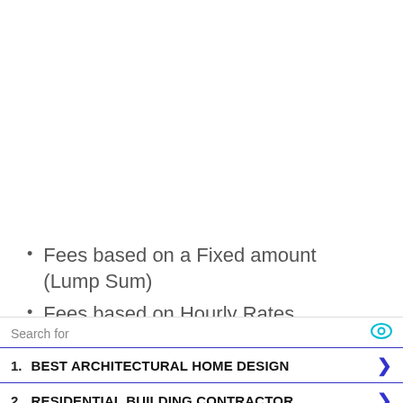Fees based on a Fixed amount (Lump Sum)
Fees based on Hourly Rates
Combination of Lump Sum and Hourly Rates for
Search for
1. BEST ARCHITECTURAL HOME DESIGN
2. RESIDENTIAL BUILDING CONTRACTOR
Yahoo! Search | Sponsored